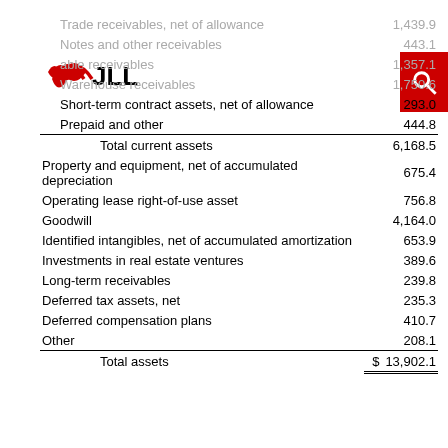[Figure (logo): JLL logo with circular wave symbol in red and black text]
| Line Item | Value |
| --- | --- |
| Trade receivables, net of allowance | 1,439.9 |
| Notes and other receivables | 443.1 |
| Receivable receivables | 1,357.1 |
| Warehouse receivables | 1,750.6 |
| Short-term contract assets, net of allowance | 293.0 |
| Prepaid and other | 444.8 |
| Total current assets | 6,168.5 |
| Property and equipment, net of accumulated depreciation | 675.4 |
| Operating lease right-of-use asset | 756.8 |
| Goodwill | 4,164.0 |
| Identified intangibles, net of accumulated amortization | 653.9 |
| Investments in real estate ventures | 389.6 |
| Long-term receivables | 239.8 |
| Deferred tax assets, net | 235.3 |
| Deferred compensation plans | 410.7 |
| Other | 208.1 |
| Total assets | $ 13,902.1 |